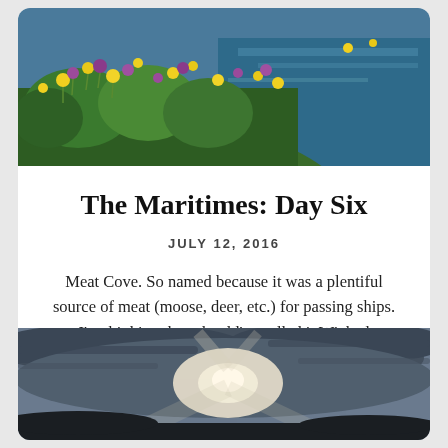[Figure (photo): Colorful wildflowers (yellow and purple) in the foreground with a blue ocean/sea visible in the background, under a partly cloudy sky.]
The Maritimes: Day Six
JULY 12, 2016
Meat Cove. So named because it was a plentiful source of meat (moose, deer, etc.) for passing ships. I'm thinking they should've called it Wicked Awesome Sunrise Cove.
[Figure (photo): A dramatic sky with sunlight breaking through dark clouds and streaks of light, with a dark silhouette of land at the bottom.]